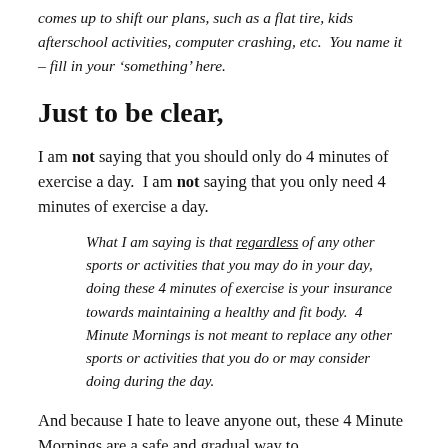comes up to shift our plans, such as a flat tire, kids afterschool activities, computer crashing, etc.  You name it – fill in your 'something' here.
Just to be clear,
I am not saying that you should only do 4 minutes of exercise a day.  I am not saying that you only need 4 minutes of exercise a day.
What I am saying is that regardless of any other sports or activities that you may do in your day, doing these 4 minutes of exercise is your insurance towards maintaining a healthy and fit body.  4 Minute Mornings is not meant to replace any other sports or activities that you do or may consider doing during the day.
And because I hate to leave anyone out, these 4 Minute Mornings are a safe and gradual way to